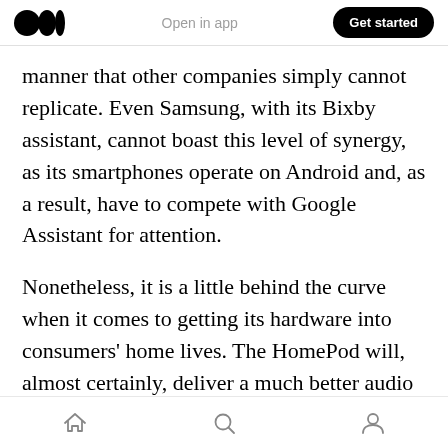Medium logo | Open in app | Get started
manner that other companies simply cannot replicate. Even Samsung, with its Bixby assistant, cannot boast this level of synergy, as its smartphones operate on Android and, as a result, have to compete with Google Assistant for attention.
Nonetheless, it is a little behind the curve when it comes to getting its hardware into consumers' home lives. The HomePod will, almost certainly, deliver a much better audio experience than the Echo Dot or Google Home Mini, with a $350 price tag to match. It will contain a host of impressive
Home | Search | Profile